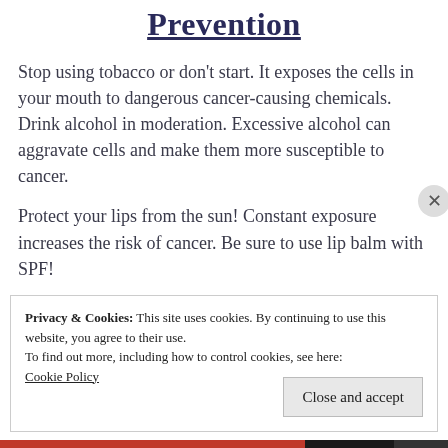Prevention
Stop using tobacco or don’t start. It exposes the cells in your mouth to dangerous cancer-causing chemicals. Drink alcohol in moderation. Excessive alcohol can aggravate cells and make them more susceptible to cancer.
Protect your lips from the sun! Constant exposure increases the risk of cancer. Be sure to use lip balm with SPF!
Privacy & Cookies: This site uses cookies. By continuing to use this website, you agree to their use.
To find out more, including how to control cookies, see here:
Cookie Policy
Close and accept